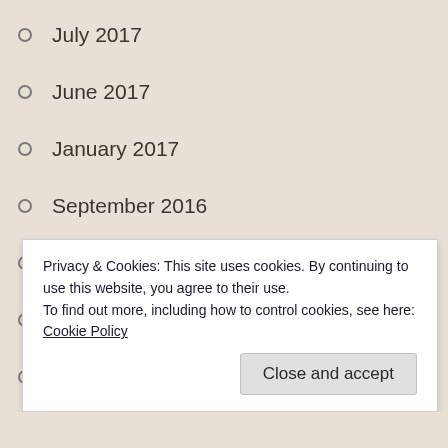July 2017
June 2017
January 2017
September 2016
August 2016
July 2016
May 2016
April 2016
November 2015
August 2015
July 2015
June 2015
May 2015
Privacy & Cookies: This site uses cookies. By continuing to use this website, you agree to their use.
To find out more, including how to control cookies, see here: Cookie Policy
Close and accept